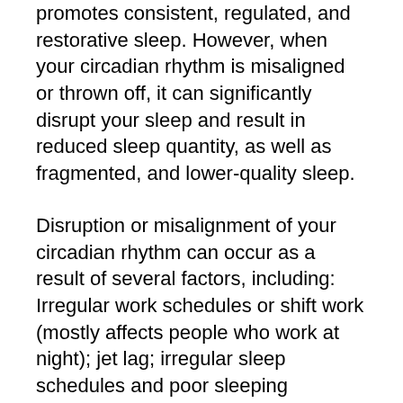rhythm is sync and properly aligned promotes consistent, regulated, and restorative sleep. However, when your circadian rhythm is misaligned or thrown off, it can significantly disrupt your sleep and result in reduced sleep quantity, as well as fragmented, and lower-quality sleep.
Disruption or misalignment of your circadian rhythm can occur as a result of several factors, including: Irregular work schedules or shift work (mostly affects people who work at night); jet lag; irregular sleep schedules and poor sleeping patterns; unhealthy lifestyle habits; stress, to mention just a few.
When your circadian rhythm is disrupted, it can lead to both sleep onset and sleep